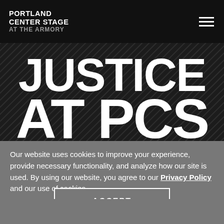PORTLAND CENTER STAGE AT THE ARMORY
[Figure (screenshot): Dark textured background with diagonal lines and large white bold text reading JUSTICE AT PCS]
Our website uses cookies to improve your experience, provide necessary functionality, and analyze how our site is used. By using our website, you agree to our Privacy Policy and our use of cookies.
ACCEPT